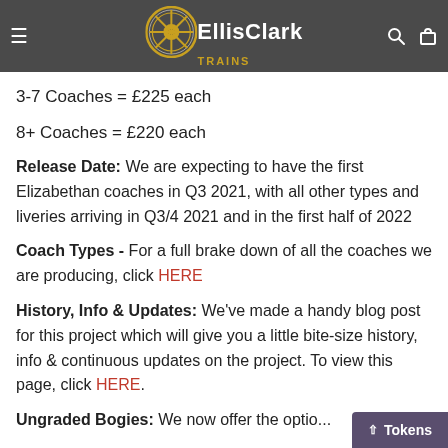Ellis Clark Trains – navigation bar with logo, hamburger menu, search and bag icons
Price:£225 each
Multi-buy Pr...
3-7 Coaches = £225 each
8+ Coaches = £220 each
Release Date: We are expecting to have the first Elizabethan coaches in Q3 2021, with all other types and liveries arriving in Q3/4 2021 and in the first half of 2022
Coach Types - For a full brake down of all the coaches we are producing, click HERE
History, Info & Updates: We've made a handy blog post for this project which will give you a little bite-size history, info & continuous updates on the project. To view this page, click HERE.
Ungraded Bogies: We now offer the optio...